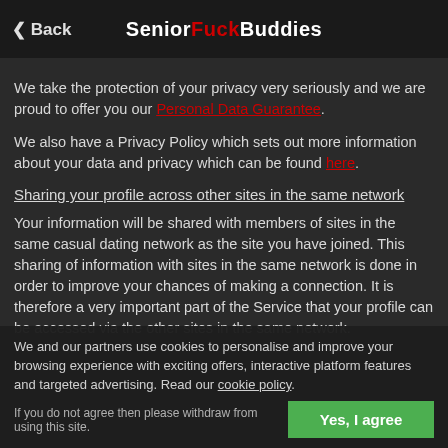< Back   SeniorFuckBuddies
We take the protection of your privacy very seriously and we are proud to offer you our Personal Data Guarantee.
We also have a Privacy Policy which sets out more information about your data and privacy which can be found here.
Sharing your profile across other sites in the same network
Your information will be shared with members of sites in the same casual dating network as the site you have joined. This sharing of information with sites in the same network is done in order to improve your chances of making a connection. It is therefore a very important part of the Service that your profile can be accessed via the other sites in the same network.
We and our partners use cookies to personalise and improve your browsing experience with exciting offers, interactive platform features and targeted advertising. Read our cookie policy.
If you do not agree then please withdraw from using this site.
Yes, I agree